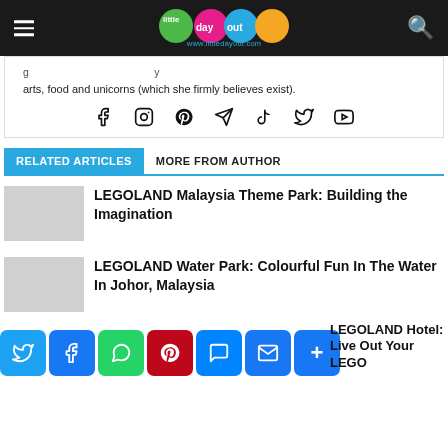Little Day Out – www.littledayout.com
arts, food and unicorns (which she firmly believes exist).
[Figure (infographic): Social media icons: Facebook, Instagram, Pinterest, Telegram, TikTok, Twitter, YouTube]
RELATED ARTICLES   MORE FROM AUTHOR
LEGOLAND Malaysia Theme Park: Building the Imagination
LEGOLAND Water Park: Colourful Fun In The Water In Johor, Malaysia
[Figure (infographic): Share bar with Twitter, Facebook, WhatsApp, Pinterest, Messenger, Email, More buttons]
LEGOLAND Hotel: Live Out Your LEGO